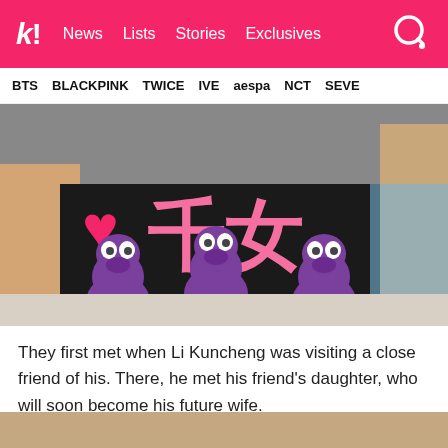k! News  Lists  Stories  Exclusives
BTS  BLACKPINK  TWICE  IVE  aespa  NCT  SEVE
[Figure (photo): Photo of someone wearing a black t-shirt with pink Chinese characters and a heart. Three purple cartoon dinosaur figurines are displayed in front of them.]
They first met when Li Kuncheng was visiting a close friend of his. There, he met his friend's daughter, who will soon become his future wife.
[Figure (photo): Partial bottom strip of a photo with beige/tan background, cropped.]